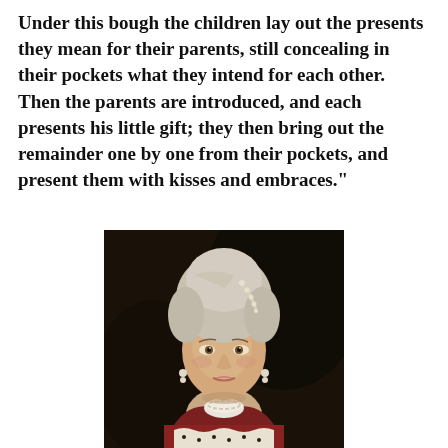Under this bough the children lay out the presents they mean for their parents, still concealing in their pockets what they intend for each other. Then the parents are introduced, and each presents his little gift; they then bring out the remainder one by one from their pockets, and present them with kisses and embraces."
[Figure (photo): Portrait painting of a young woman in 18th century style with an elaborate powdered upswept hairstyle adorned with pearls, wearing a pearl necklace and pearl drop earrings, with a white ruffled collar and ornate red and white dress with ermine trim, shown against a dark background.]